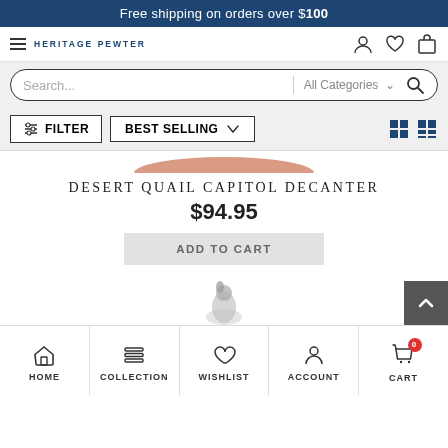Free shipping on orders over $100
[Figure (screenshot): Website navigation bar with hamburger menu, Heritage Pewter logo, and icons for account, wishlist, and cart]
[Figure (screenshot): Search bar with placeholder 'Search...' and 'All Categories' dropdown with magnifying glass icon]
[Figure (screenshot): Filter bar with FILTER button, BEST SELLING dropdown, and grid/list view toggle icons]
DESERT QUAIL CAPITOL DECANTER
$94.95
ADD TO CART
[Figure (photo): Partial view of a second product image showing a bird figurine]
HOME  COLLECTION  WISHLIST  ACCOUNT  CART